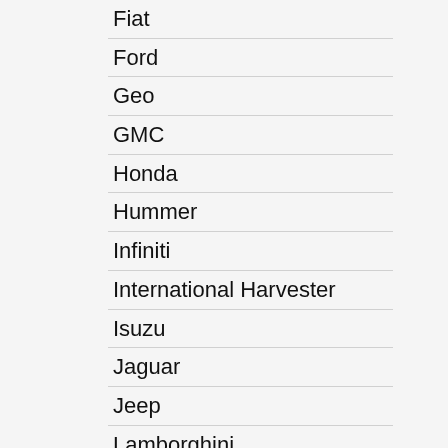Fiat
Ford
Geo
GMC
Honda
Hummer
Infiniti
International Harvester
Isuzu
Jaguar
Jeep
Lamborghini
Lancia
Land Rover
Lexus
Lincoln
Lotus
Maserati